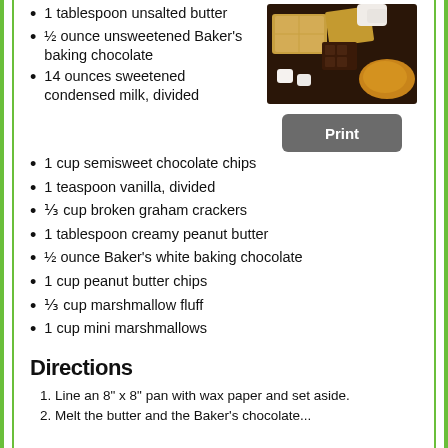1 tablespoon unsalted butter
½ ounce unsweetened Baker's baking chocolate
14 ounces sweetened condensed milk, divided
[Figure (photo): Overhead photo of marshmallows, graham crackers, and peanut butter on a dark surface]
1 cup semisweet chocolate chips
1 teaspoon vanilla, divided
⅓ cup broken graham crackers
1 tablespoon creamy peanut butter
½ ounce Baker's white baking chocolate
1 cup peanut butter chips
⅓ cup marshmallow fluff
1 cup mini marshmallows
Directions
1. Line an 8" x 8" pan with wax paper and set aside.
2. Melt the butter and the Baker's chocolate...